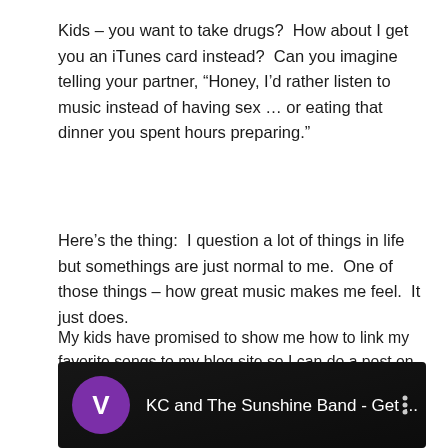Kids – you want to take drugs?  How about I get you an iTunes card instead?  Can you imagine telling your partner, “Honey, I’d rather listen to music instead of having sex … or eating that dinner you spent hours preparing.”
Here’s the thing:  I question a lot of things in life but somethings are just normal to me.  One of those things – how great music makes me feel.  It just does.
My kids have promised to show me how to link my favorite songs to my blog site so I can do a post on the music that makes me dance in the cereal aisle.  Until then, I’m dancing today to KC and the Sunshine Band!   I can even get my kids to “boogie” to this one!  Here’s the link (I think) – turn down the sound just in case it works!!!
[Figure (screenshot): Video thumbnail showing a dark background with a purple circle containing the letter V, followed by the text 'KC and The Sunshine Band - Get ...' and a vertical dots menu icon on the right.]